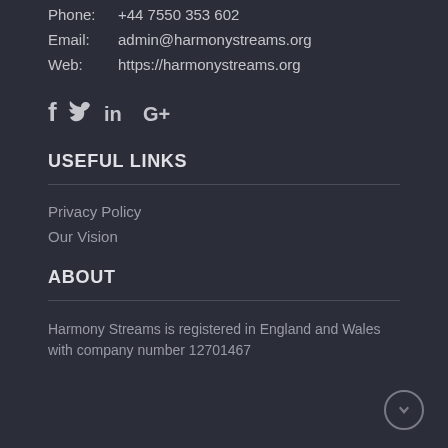Phone: +44 7550 353 602
Email: admin@harmonystreams.org
Web: https://harmonystreams.org
[Figure (other): Social media icons: Facebook (f), Twitter (bird icon), LinkedIn (in), Google+ (G+)]
USEFUL LINKS
Privacy Policy
Our Vision
ABOUT
Harmony Streams is registered in England and Wales with company number 12701467